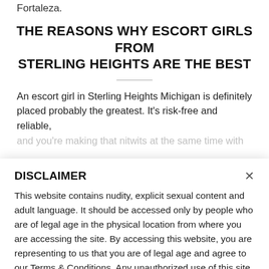Fortaleza.
THE REASONS WHY ESCORT GIRLS FROM STERLING HEIGHTS ARE THE BEST
An escort girl in Sterling Heights Michigan is definitely placed probably the greatest. It’s risk-free and reliable, and you’re making that nitwits at the same time with
DISCLAIMER
This website contains nudity, explicit sexual content and adult language. It should be accessed only by people who are of legal age in the physical location from where you are accessing the site. By accessing this website, you are representing to us that you are of legal age and agree to our Terms & Conditions. Any unauthorized use of this site may violate state, federal and/or foreign law.
While datingranking.net does not create, produce or edit any